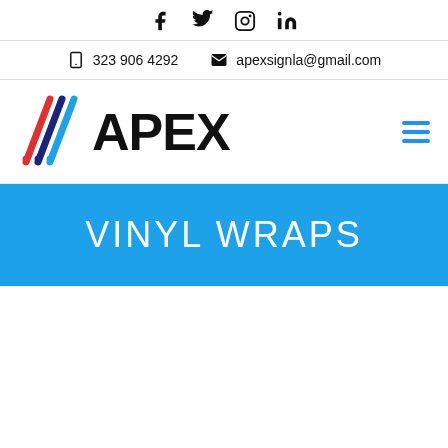Social icons: Facebook, Twitter, Instagram, LinkedIn
323 906 4292   apexsignla@gmail.com
[Figure (logo): Apex Signs logo with diagonal stripe graphic and bold APEX text]
VINYL WRAPS